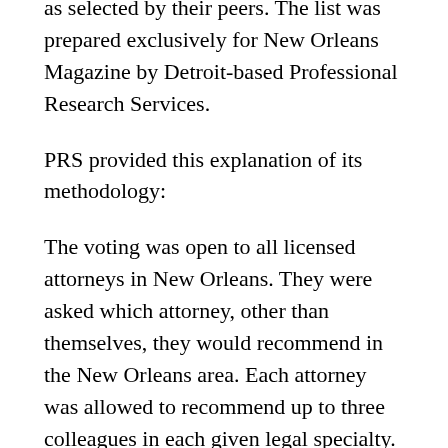as selected by their peers. The list was prepared exclusively for New Orleans Magazine by Detroit-based Professional Research Services.
PRS provided this explanation of its methodology:
The voting was open to all licensed attorneys in New Orleans. They were asked which attorney, other than themselves, they would recommend in the New Orleans area. Each attorney was allowed to recommend up to three colleagues in each given legal specialty. Once the online nominations were complete,